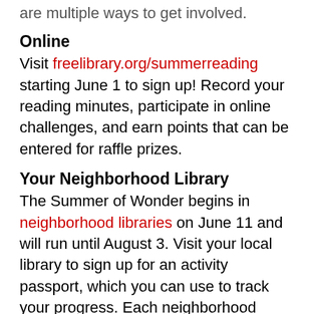are multiple ways to get involved.
Online
Visit freelibrary.org/summerreading starting June 1 to sign up! Record your reading minutes, participate in online challenges, and earn points that can be entered for raffle prizes.
Your Neighborhood Library
The Summer of Wonder begins in neighborhood libraries on June 11 and will run until August 3. Visit your local library to sign up for an activity passport, which you can use to track your progress. Each neighborhood library will host a variety of enrichment activities including storytimes, special guests, arts and crafts, STEM experiments, challenges, robotics, games, and more! Participants can earn raffle entries to win prizes just for participating. Adults can also get in on the fun at select neighborhood libraries, where there will be special raffles for reading, attending